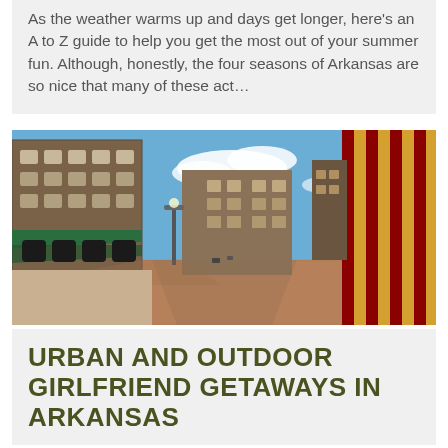As the weather warms up and days get longer, here's an A to Z guide to help you get the most out of your summer fun. Although, honestly, the four seasons of Arkansas are so nice that many of these act...
[Figure (photo): Wide-angle street scene of a historic downtown area with multi-story brick buildings, green awnings on the left, colorful striped awnings on the right, and a brick-paved street leading into the distance under a blue sky with clouds.]
Urban and Outdoor Girlfriend Getaways in Arkansas